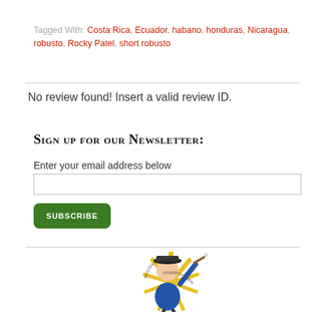Tagged With: Costa Rica, Ecuador, habano, honduras, Nicaragua, robusto, Rocky Patel, short robusto
No review found! Insert a valid review ID.
Sign up for our Newsletter:
Enter your email address below
[Figure (illustration): Cartoon mascot figure of a colonial-era man in blue coat and tricorn hat holding a cigar, with sunburst rays and text 'Nostra Libertas' around him]